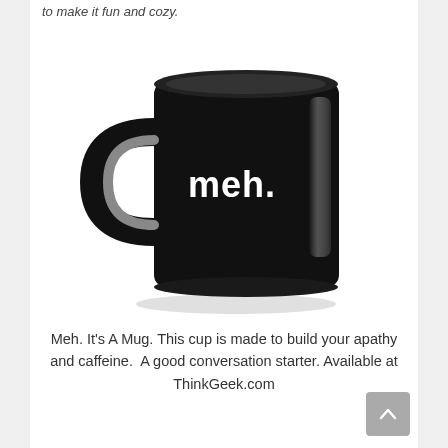to make it fun and cozy.
[Figure (photo): A black ceramic coffee mug with the word 'meh.' printed in white bold sans-serif text on the front. The mug has a large handle on the left and glossy finish with subtle reflections.]
Meh. It's A Mug. This cup is made to build your apathy and caffeine. A good conversation starter. Available at ThinkGeek.com